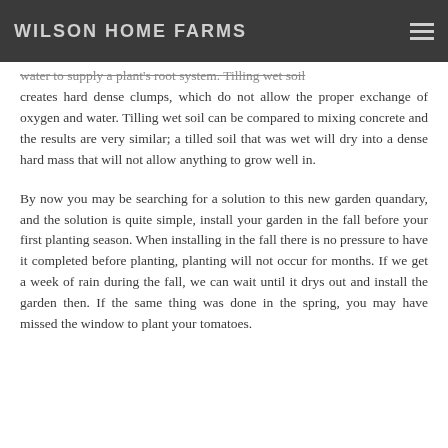WILSON HOME FARMS
water to supply a plant's root system. Tilling wet soil creates hard dense clumps, which do not allow the proper exchange of oxygen and water. Tilling wet soil can be compared to mixing concrete and the results are very similar; a tilled soil that was wet will dry into a dense hard mass that will not allow anything to grow well in.
By now you may be searching for a solution to this new garden quandary, and the solution is quite simple, install your garden in the fall before your first planting season. When installing in the fall there is no pressure to have it completed before planting, planting will not occur for months. If we get a week of rain during the fall, we can wait until it drys out and install the garden then. If the same thing was done in the spring, you may have missed the window to plant your tomatoes.